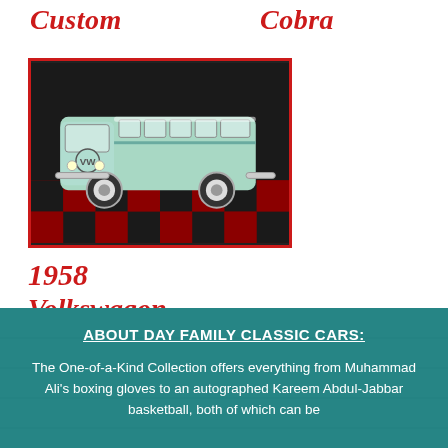Custom
Cobra
[Figure (photo): 1958 Volkswagon Transporter - a mint green VW bus photographed in a showroom with red and black checkered floor]
1958 Volkswagon Transporter
ABOUT DAY FAMILY CLASSIC CARS:
The One-of-a-Kind Collection offers everything from Muhammad Ali's boxing gloves to an autographed Kareem Abdul-Jabbar basketball, both of which can be